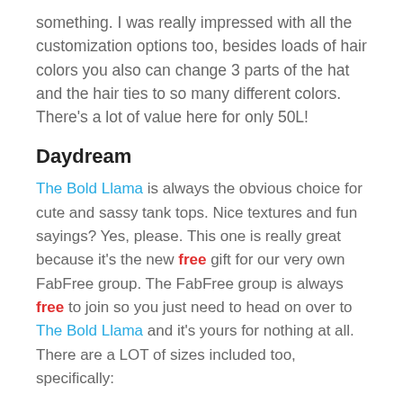something. I was really impressed with all the customization options too, besides loads of hair colors you also can change 3 parts of the hat and the hair ties to so many different colors. There’s a lot of value here for only 50L!
Daydream
The Bold Llama is always the obvious choice for cute and sassy tank tops. Nice textures and fun sayings? Yes, please. This one is really great because it’s the new free gift for our very own FabFree group. The FabFree group is always free to join so you just need to head on over to The Bold Llama and it’s yours for nothing at all. There are a LOT of sizes included too, specifically:
Belleza Freya, Isis, and Venus
eBody